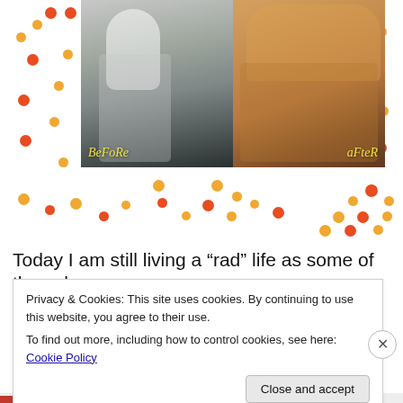[Figure (photo): Two side-by-side running photos labeled 'Before' and 'After' on a decorative background with orange and red dots]
Today I am still living a “rad” life as some of the colours
Privacy & Cookies: This site uses cookies. By continuing to use this website, you agree to their use.
To find out more, including how to control cookies, see here: Cookie Policy
Close and accept